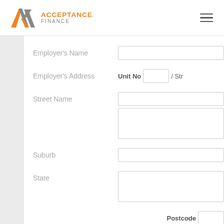[Figure (logo): Acceptance Finance logo with orange/grey AX monogram and company name]
Employer's Name
Employer's Address
Unit No / Str
Street Name
Suburb
State
Postcode
Work Phone Number